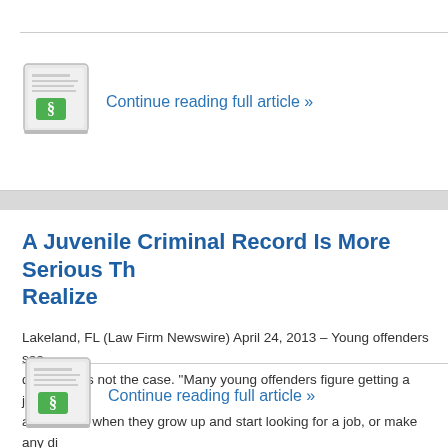[Figure (illustration): News icon with green section symbol and newspaper graphic]
Continue reading full article »
A Juvenile Criminal Record Is More Serious Than You Realize
Lakeland, FL (Law Firm Newswire) April 24, 2013 – Young offenders seem to think getting a juvenile record is no big deal. This is not the case. "Many young offenders figure getting a juvenile record is no big deal and won't affect them when they grow up and start looking for a job, or make any difference if they are ever arrested and sentenced for something else and/or need to post bond. Wrong. A juvenile record can very much negatively affect you in terms of sentencing or if you need to post bond," explained Tampa criminal defense attorney. […]
[Figure (illustration): News icon with green section symbol and newspaper graphic]
Continue reading full article »